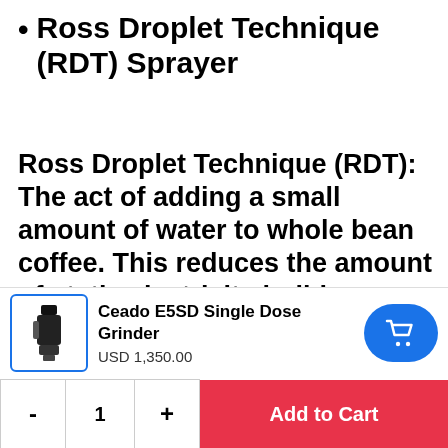Ross Droplet Technique (RDT) Sprayer
Ross Droplet Technique (RDT): The act of adding a small amount of water to whole bean coffee. This reduces the amount of static electricity buildup within the grinding chamber. As one home-barista can use put it "Wet
[Figure (photo): Small product thumbnail image of Ceado E5SD Single Dose Grinder in black]
Ceado E5SD Single Dose Grinder
USD 1,350.00
- 1 + Add to Cart